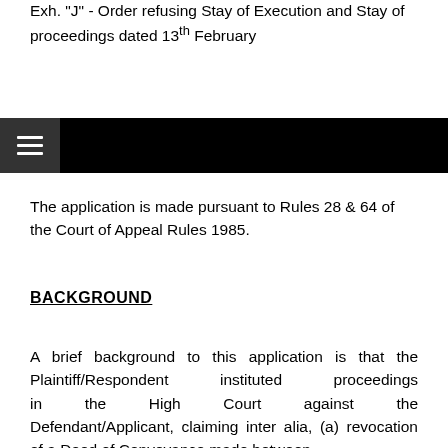Exh. "J" - Order refusing Stay of Execution and Stay of proceedings dated 13th February
The application is made pursuant to Rules 28 & 64 of the Court of Appeal Rules 1985.
BACKGROUND
A brief background to this application is that the Plaintiff/Respondent instituted proceedings in the High Court against the Defendant/Applicant, claiming inter alia, (a) revocation of a Deed of Conveyance made between...